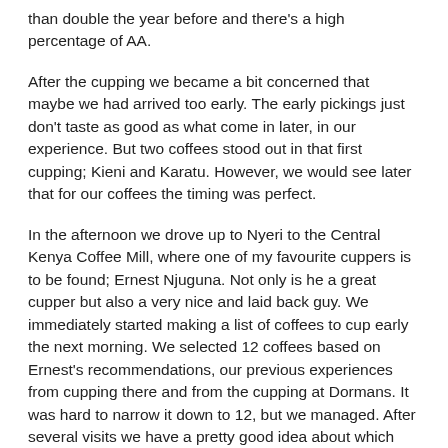than double the year before and there's a high percentage of AA.
After the cupping we became a bit concerned that maybe we had arrived too early. The early pickings just don't taste as good as what come in later, in our experience. But two coffees stood out in that first cupping; Kieni and Karatu. However, we would see later that for our coffees the timing was perfect.
In the afternoon we drove up to Nyeri to the Central Kenya Coffee Mill, where one of my favourite cuppers is to be found; Ernest Njuguna. Not only is he a great cupper but also a very nice and laid back guy. We immediately started making a list of coffees to cup early the next morning. We selected 12 coffees based on Ernest's recommendations, our previous experiences from cupping there and from the cupping at Dormans. It was hard to narrow it down to 12, but we managed. After several visits we have a pretty good idea about which facotries we like, and Ernest cups everything that come through the mill, so he knows which coffees are good. We had coffees from several societies, including